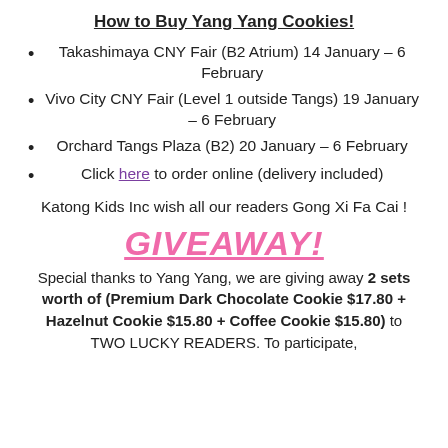How to Buy Yang Yang Cookies!
Takashimaya CNY Fair (B2 Atrium) 14 January – 6 February
Vivo City CNY Fair (Level 1 outside Tangs) 19 January – 6 February
Orchard Tangs Plaza (B2) 20 January – 6 February
Click here to order online (delivery included)
Katong Kids Inc wish all our readers Gong Xi Fa Cai !
GIVEAWAY!
Special thanks to Yang Yang, we are giving away 2 sets worth of (Premium Dark Chocolate Cookie $17.80 + Hazelnut Cookie $15.80 + Coffee Cookie $15.80) to TWO LUCKY READERS. To participate,